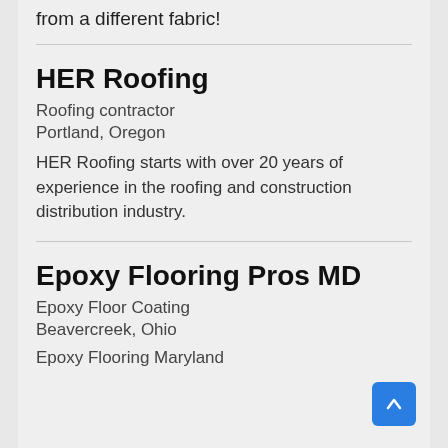from a different fabric!
HER Roofing
Roofing contractor
Portland, Oregon
HER Roofing starts with over 20 years of experience in the roofing and construction distribution industry.
Epoxy Flooring Pros MD
Epoxy Floor Coating
Beavercreek, Ohio
Epoxy Flooring Maryland